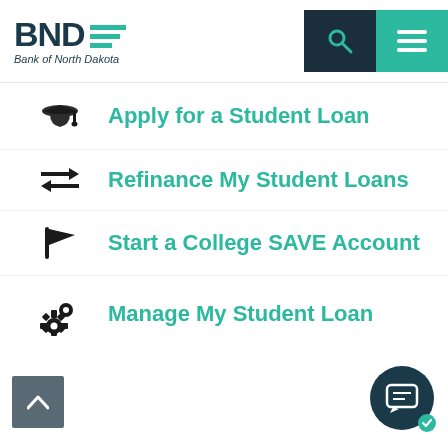[Figure (logo): BND Bank of North Dakota logo with teal horizontal lines]
[Figure (screenshot): Dark navy search icon button and teal hamburger menu icon button in header]
Apply for a Student Loan
Refinance My Student Loans
Start a College SAVE Account
Manage My Student Loan